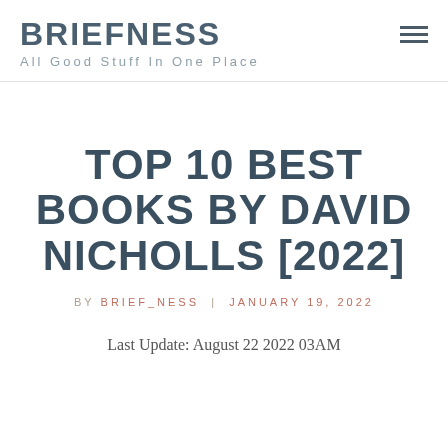BRIEFNESS
All Good Stuff In One Place
TOP 10 BEST BOOKS BY DAVID NICHOLLS [2022]
BY BRIEF_NESS | JANUARY 19, 2022
Last Update: August 22 2022 03AM